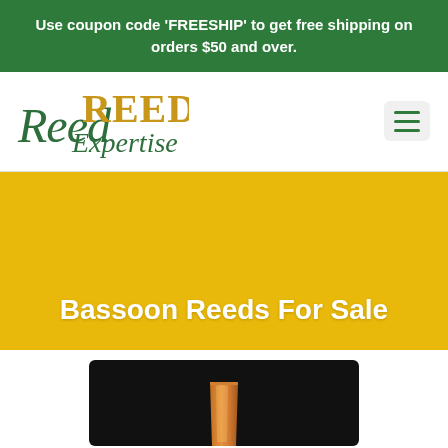Use coupon code 'FREESHIP' to get free shipping on orders $50 and over.
[Figure (logo): Reed Expertise logo — script 'Reed Expertise' in dark green with 'REED' in large gold serif capitals]
Bassoon Reeds For Sale
[Figure (photo): Close-up photo of a bassoon reed against a black background — golden-orange cane visible at the top]